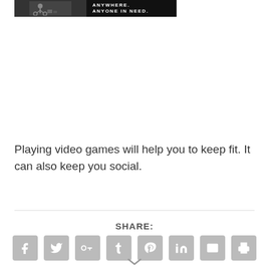[Figure (photo): Advertisement banner image showing a person on a bicycle with text 'ANYWHERE. ANYONE IN NEED.' on dark background]
Playing video games will help you to keep fit. It can also keep you social.
SHARE:
[Figure (infographic): Row of 8 social share icon buttons: Facebook, Twitter, Google+, Tumblr, Pinterest, LinkedIn, Email, Print — all grey rounded square icons]